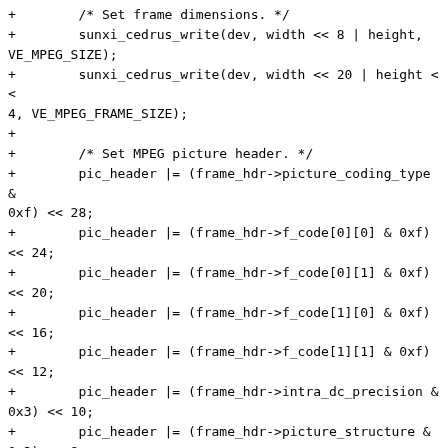+	/* Set frame dimensions. */
+	sunxi_cedrus_write(dev, width << 8 | height, VE_MPEG_SIZE);
+	sunxi_cedrus_write(dev, width << 20 | height << 4, VE_MPEG_FRAME_SIZE);
+
+	/* Set MPEG picture header. */
+	pic_header |= (frame_hdr->picture_coding_type & 0xf) << 28;
+	pic_header |= (frame_hdr->f_code[0][0] & 0xf) << 24;
+	pic_header |= (frame_hdr->f_code[0][1] & 0xf) << 20;
+	pic_header |= (frame_hdr->f_code[1][0] & 0xf) << 16;
+	pic_header |= (frame_hdr->f_code[1][1] & 0xf) << 12;
+	pic_header |= (frame_hdr->intra_dc_precision & 0x3) << 10;
+	pic_header |= (frame_hdr->picture_structure & 0x3) << 8;
+	pic_header |= (frame_hdr->top_field_first & 0x1) << 7;
+	pic_header |= (frame_hdr->frame_pred_frame_dct & 0x1) << 6;
+	pic_header |= (frame_hdr->concealment_motion_vectors & 0x1) << 5;
+	pic_header |= (frame_hdr->q_scale_type & 0x1) << 4;
+	pic_header |= (frame_hdr->intra_vlc_format &